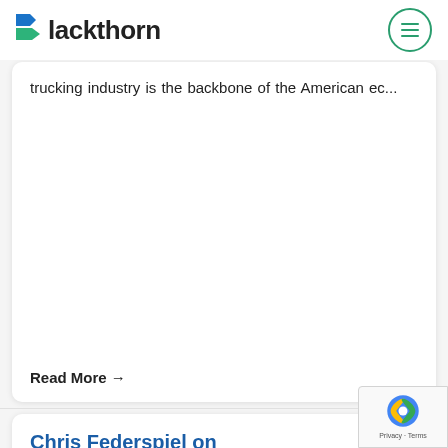Blackthorn
trucking industry is the backbone of the American ec...
Read More →
Chris Federspiel on Blackthorn.io's apps and